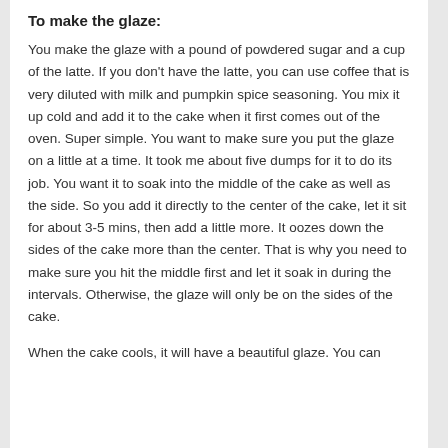To make the glaze:
You make the glaze with a pound of powdered sugar and a cup of the latte. If you don't have the latte, you can use coffee that is very diluted with milk and pumpkin spice seasoning. You mix it up cold and add it to the cake when it first comes out of the oven. Super simple. You want to make sure you put the glaze on a little at a time. It took me about five dumps for it to do its job. You want it to soak into the middle of the cake as well as the side. So you add it directly to the center of the cake, let it sit for about 3-5 mins, then add a little more. It oozes down the sides of the cake more than the center. That is why you need to make sure you hit the middle first and let it soak in during the intervals. Otherwise, the glaze will only be on the sides of the cake.
When the cake cools, it will have a beautiful glaze. You can